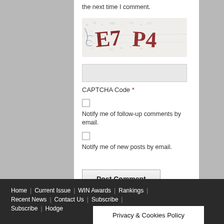the next time I comment.
[Figure (other): CAPTCHA image showing distorted text 'E7 P4' with background noise and decorative elements]
CAPTCHA Code *
Notify me of follow-up comments by email.
Notify me of new posts by email.
Post Comment
Home | Current Issue | WIN Awards | Rankings | Recent News | Contact Us | Subscribe | Subscribe | Hodge... Privacy & Cookies Policy